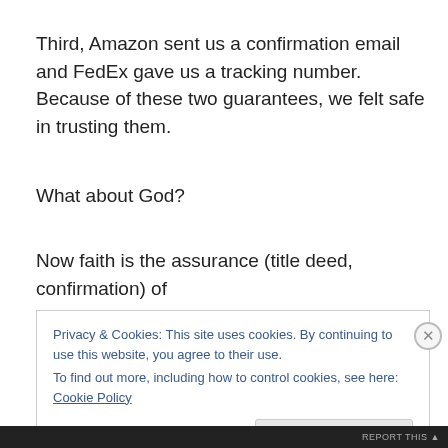Third, Amazon sent us a confirmation email and FedEx gave us a tracking number. Because of these two guarantees, we felt safe in trusting them.
What about God?
Now faith is the assurance (title deed, confirmation) of
Privacy & Cookies: This site uses cookies. By continuing to use this website, you agree to their use.
To find out more, including how to control cookies, see here: Cookie Policy
Close and accept